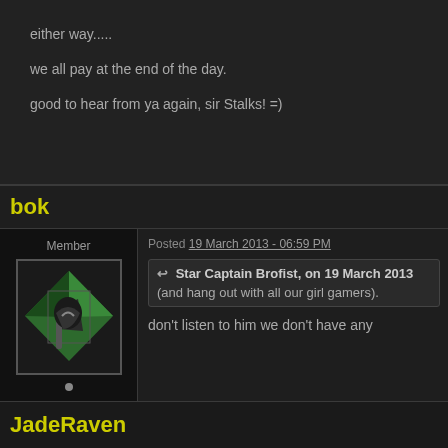either way.....
we all pay at the end of the day.
good to hear from ya again, sir Stalks! =)
bok
Member
Posted 19 March 2013 - 06:59 PM
Star Captain Brofist, on 19 March 2013
(and hang out with all our girl gamers).
19 posts
don't listen to him we don't have any
JadeRaven